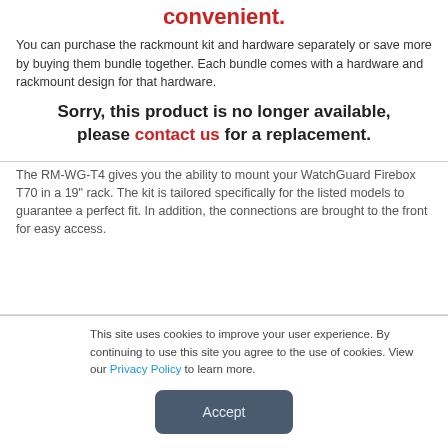convenient.
You can purchase the rackmount kit and hardware separately or save more by buying them bundle together. Each bundle comes with a hardware and rackmount design for that hardware.
Sorry, this product is no longer available, please contact us for a replacement.
The RM-WG-T4 gives you the ability to mount your WatchGuard Firebox T70 in a 19" rack. The kit is tailored specifically for the listed models to guarantee a perfect fit. In addition, the connections are brought to the front for easy access.
This site uses cookies to improve your user experience. By continuing to use this site you agree to the use of cookies. View our Privacy Policy to learn more.
Accept